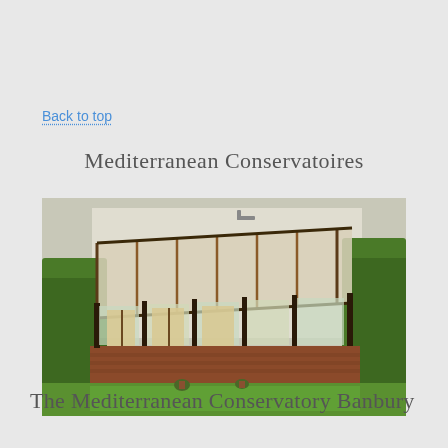Back to top
Mediterranean Conservatoires
[Figure (photo): Aerial/elevated view of a Mediterranean-style conservatory attached to a brick house, with a lean-to glass roof structure, dark frames, multiple glass panels and doors, surrounded by green hedges and lawn garden.]
The Mediterranean Conservatory Banbury